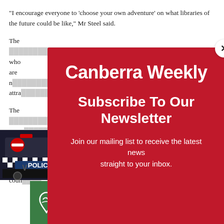“I encourage everyone to ‘choose your own adventure’ on what libraries of the future could be like,” Mr Steel said.
The [text partially obscured] who are n[text partially obscured] attra[text partially obscured]
The [text partially obscured] Septe[text partially obscured]
The [text partially obscured] ome libra[text partially obscured] coun[text partially obscured]
[Figure (screenshot): Canberra Weekly newsletter subscription modal popup with red background. Shows 'Canberra Weekly' logo in white bold text, 'Subscribe To Our Newsletter' heading, and 'Join our mailing list to receive the latest news straight to your inbox.' subtext. Has a close button (X) in the top right corner.]
[Figure (screenshot): Breaking news notification bar at the bottom showing a police car image on the left and text 'Missing 33-year-old woman’s body found in Belconnen | Canberra Weekly' with a close X button.]
[Figure (screenshot): Green advertisement banner for Goodwin Residential Care, George Sautelle House, Farrer, with logo and photo of elderly woman with caregiver.]